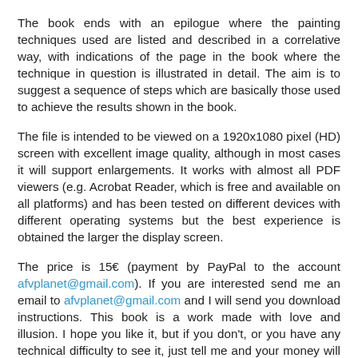The book ends with an epilogue where the painting techniques used are listed and described in a correlative way, with indications of the page in the book where the technique in question is illustrated in detail. The aim is to suggest a sequence of steps which are basically those used to achieve the results shown in the book.
The file is intended to be viewed on a 1920x1080 pixel (HD) screen with excellent image quality, although in most cases it will support enlargements. It works with almost all PDF viewers (e.g. Acrobat Reader, which is free and available on all platforms) and has been tested on different devices with different operating systems but the best experience is obtained the larger the display screen.
The price is 15€ (payment by PayPal to the account afvplanet@gmail.com). If you are interested send me an email to afvplanet@gmail.com and I will send you download instructions. This book is a work made with love and illusion. I hope you like it, but if you don't, or you have any technical difficulty to see it, just tell me and your money will be refunded. Each copy of the book is numbered,